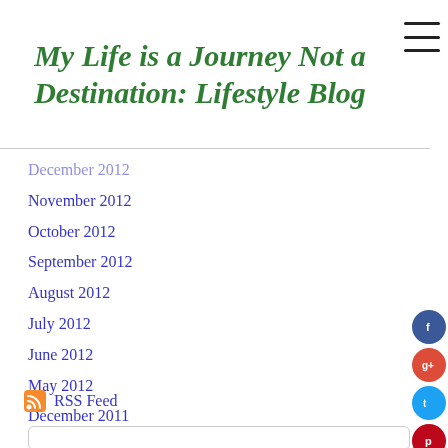My Life is a Journey Not a Destination: Lifestyle Blog
December 2012
November 2012
October 2012
September 2012
August 2012
July 2012
June 2012
May 2012
December 2011
September 2011
August 2011
July 2011
RSS Feed
[Figure (other): Bottom card area with partial image/logo]